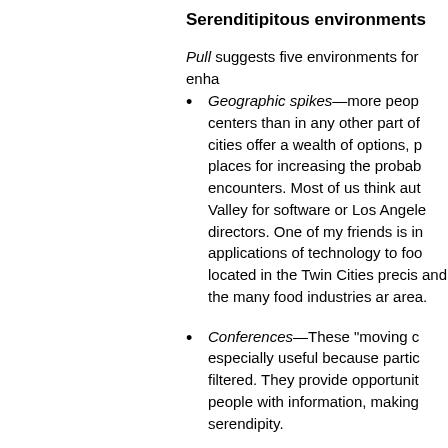Serenditipitous environments
Pull suggests five environments for enha...
Geographic spikes—more peop... centers than in any other part of... cities offer a wealth of options, p... places for increasing the proba... encounters. Most of us think aut... Valley for software or Los Angel... directors. One of my friends is ir... applications of technology to foo... located in the Twin Cities precis... and the many food industries ar... area.
Conferences—These "moving c... especially useful because partic... filtered. They provide opportunit... people with information, making... serendipity.
Online social networks—Virtual... plenty of potential for shaping se... as these environments grow the... productivity encounters. Still, ch...